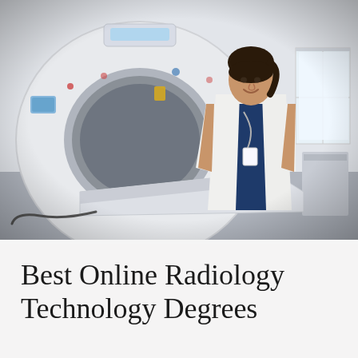[Figure (photo): A female radiology technologist in a white lab coat and blue scrubs stands next to a large CT scanner machine in a bright clinical room. She is smiling at the camera with a badge lanyard. The room is white and clean with a window visible on the right side.]
Best Online Radiology Technology Degrees